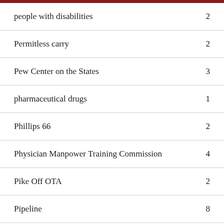people with disabilities	2
Permitless carry	2
Pew Center on the States	3
pharmaceutical drugs	1
Phillips 66	2
Physician Manpower Training Commission	4
Pike Off OTA	2
Pipeline	8
Pit Mining	19
Plains and Eastern	3